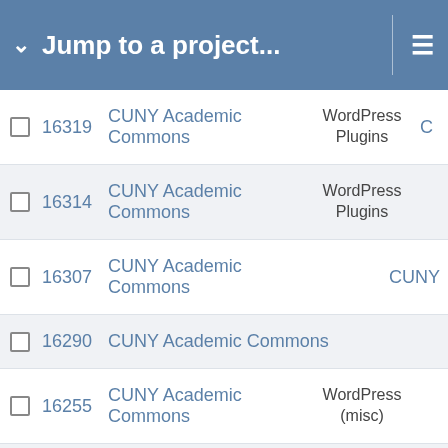Jump to a project...
16319  CUNY Academic Commons  WordPress Plugins  C
16314  CUNY Academic Commons  WordPress Plugins
16307  CUNY Academic Commons  CUNY
16290  CUNY Academic Commons
16255  CUNY Academic Commons  WordPress (misc)
16199  CUNY Academic Commons  Directories  C